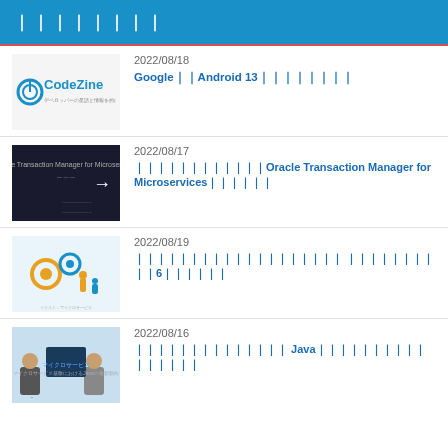｜｜｜｜｜｜｜｜
2022/08/18
Google｜｜Android 13｜｜｜｜｜｜｜｜
2022/08/17
｜｜｜｜｜｜｜｜｜｜｜｜Oracle Transaction Manager for Microservices｜｜｜｜｜｜
2022/08/19
｜｜｜｜｜｜｜｜｜｜｜｜｜｜｜｜｜｜｜ ｜｜｜｜｜｜｜｜｜｜6｜｜｜｜｜｜
2022/08/16
｜｜｜｜｜｜｜｜｜｜｜｜｜｜ Java｜｜｜｜｜｜｜｜｜｜｜｜｜｜｜｜